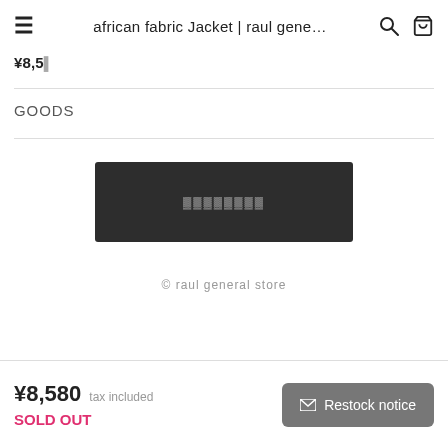african fabric Jacket | raul gene...
¥8,580 (partial price shown at top)
GOODS
[Figure (other): Dark button with Japanese text (sold out / カートに入れる style button)]
© raul general store
¥8,580 tax included
SOLD OUT
Restock notice